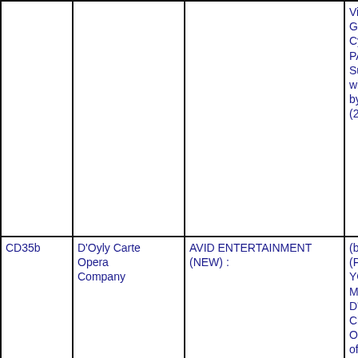| ID | Company | Label | Details |
| --- | --- | --- | --- |
|  |  |  | Victoria Sl Grant, Mu Cynthia M PATTER S Sullivan N with choru by Robert (2007) NE |
| CD35b | D'Oyly Carte Opera Company | AVID ENTERTAINMENT (NEW) : | (b) GILBE (PF; RG; F YG; SO) a MK; PP; IC D'Oyly Car Chorus an Orchestra of Birming George W (2004) (2 C |
| LP164b | D'Oyly Carte Opera Company | GILBERT & SULLIVAN | GILBERT SPECTAC Pinafore/ N The D'Oyly The Royal conducted Recorded Bridget D'O Reed, Alar Christene Valerie Ma Anthony R |